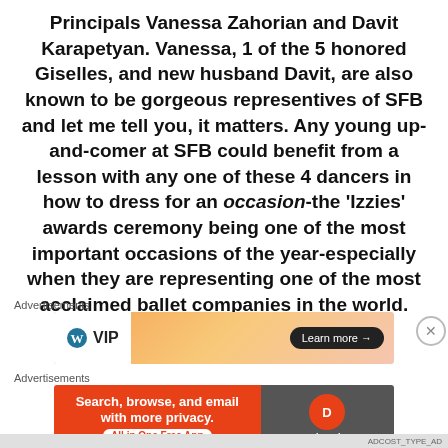Principals Vanessa Zahorian and Davit Karapetyan. Vanessa, 1 of the 5 honored Giselles, and new husband Davit, are also known to be gorgeous representives of SFB and let me tell you, it matters. Any young up-and-comer at SFB could benefit from a lesson with any one of these 4 dancers in how to dress for an occasion-the ‘Izzies’ awards ceremony being one of the most important occasions of the year-especially when they are representing one of the most acclaimed ballet companies in the world.
Advertisements
[Figure (other): Advertisement banner for WordPress VIP with orange gradient background and Learn more button]
Advertisements
[Figure (other): Advertisement banner for DuckDuckGo: Search, browse, and email with more privacy. All in One Free App]